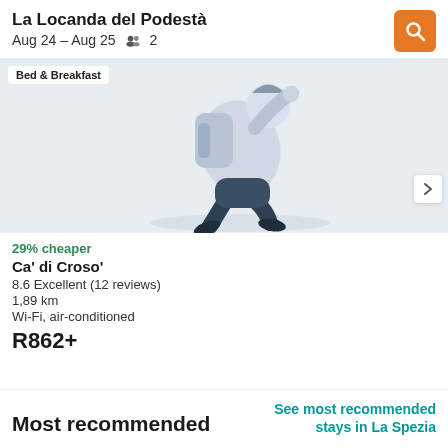La Locanda del Podestà
Aug 24 – Aug 25   2
[Figure (illustration): Illustration of a traveler person with a backpack in motion, in blue/grey tones on a light background, with a 'Bed & Breakfast' badge overlay and a chevron arrow button on the right.]
29% cheaper
Ca' di Croso'
8.6 Excellent (12 reviews)
1,89 km
Wi-Fi, air-conditioned
R862+
Most recommended
See most recommended stays in La Spezia